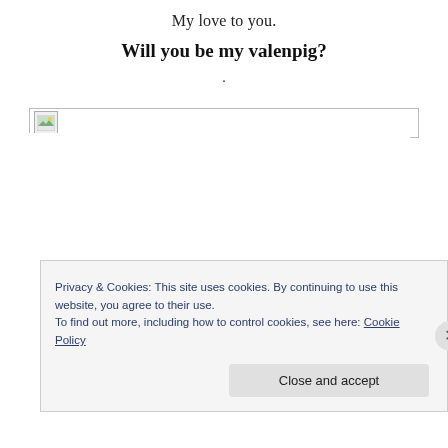My love to you.
Will you be my valenpig?
.
[Figure (other): Broken image placeholder — a small landscape icon in the top-left corner of a wide bordered rectangle]
Privacy & Cookies: This site uses cookies. By continuing to use this website, you agree to their use.
To find out more, including how to control cookies, see here: Cookie Policy
Close and accept